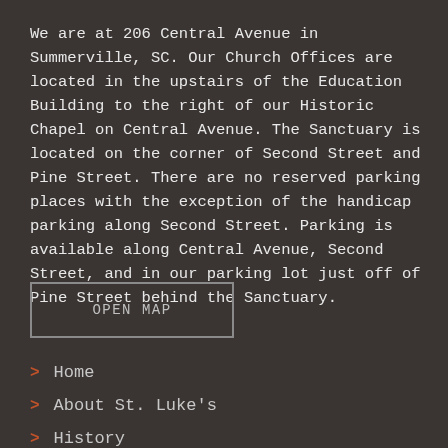We are at 206 Central Avenue in Summerville, SC. Our Church Offices are located in the upstairs of the Education Building to the right of our Historic Chapel on Central Avenue. The Sanctuary is located on the corner of Second Street and Pine Street. There are no reserved parking places with the exception of the handicap parking along Second Street. Parking is available along Central Avenue, Second Street, and in our parking lot just off of Pine Street behind the Sanctuary.
OPEN MAP
> Home
> About St. Luke's
> History